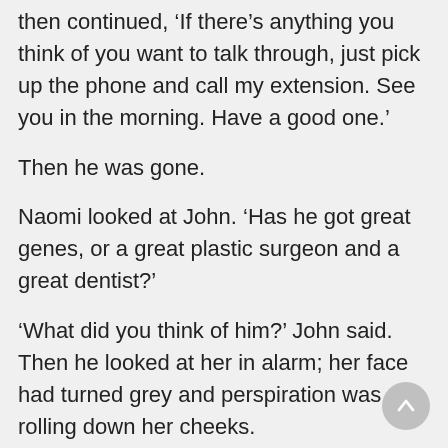then continued, ‘If there’s anything you think of you want to talk through, just pick up the phone and call my extension. See you in the morning. Have a good one.’
Then he was gone.
Naomi looked at John. ‘Has he got great genes, or a great plastic surgeon and a great dentist?’
‘What did you think of him?’ John said. Then he looked at her in alarm; her face had turned grey and perspiration was rolling down her cheeks.
She dropped the container and lunged towards the bathroom.